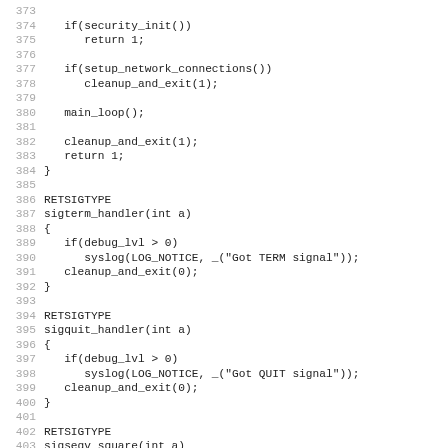Code listing lines 373-405, C source code showing security_init, setup_network_connections, main_loop, cleanup_and_exit, sigterm_handler, sigquit_handler, sigsegv_square functions